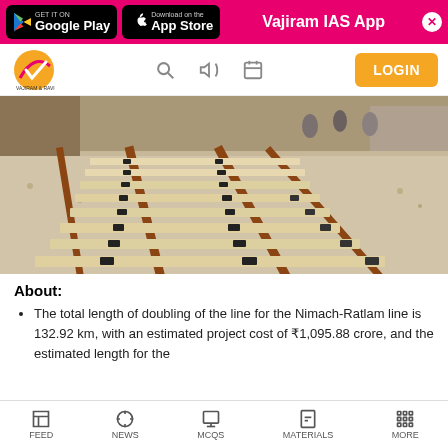GET IT ON Google Play | Download on the App Store | Vajiram IAS App
[Figure (logo): Vajiram & Ravi logo with navigation icons (search, megaphone, calendar) and LOGIN button]
[Figure (photo): Railway track doubling construction photo showing two parallel tracks with sleepers and ballast]
About:
The total length of doubling of the line for the Nimach-Ratlam line is 132.92 km, with an estimated project cost of ₹1,095.88 crore, and the estimated length for the
FEED | NEWS | MCQS | MATERIALS | MORE